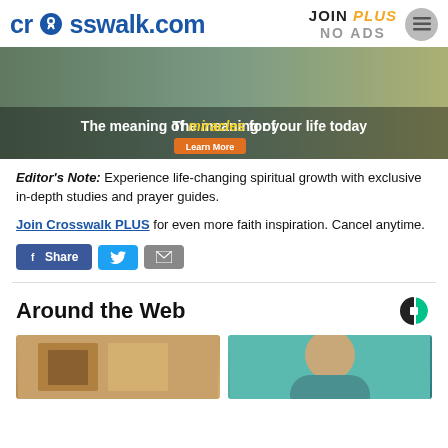crosswalk.com | JOIN PLUS NO ADS
[Figure (photo): Two people jogging outdoors with text overlay: 'The meaning of miracles for your life today' and a 'Learn More' button]
Editor's Note: Experience life-changing spiritual growth with exclusive in-depth studies and prayer guides.
Join Crosswalk PLUS for even more faith inspiration. Cancel anytime.
[Figure (infographic): Social share buttons: Share (Facebook), Twitter, and Email]
Around the Web